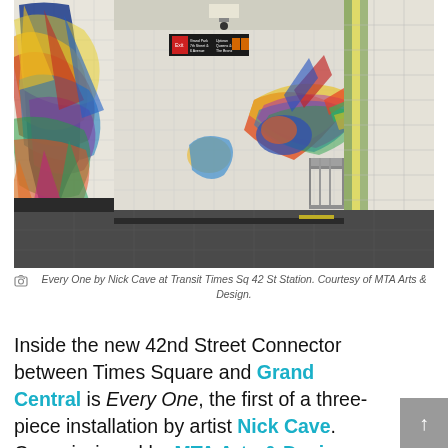[Figure (photo): Interior of a subway station corridor at Times Square 42nd Street Station showing colorful mosaic-style artwork murals by Nick Cave on the walls. The murals depict large, vibrant figures with feathered costumes. An exit sign is visible overhead, and metal railings line a staircase on the right side. The floor is dark tile.]
Every One by Nick Cave at Transit Times Sq 42 St Station. Courtesy of MTA Arts & Design.
Inside the new 42nd Street Connector between Times Square and Grand Central is Every One, the first of a three-piece installation by artist Nick Cave. Commissioned by MTA Arts & Design, the installation